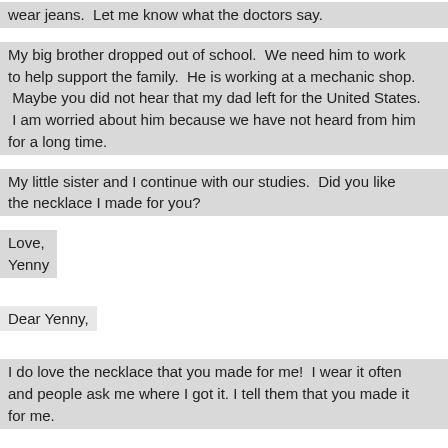wear jeans.  Let me know what the doctors say.
My big brother dropped out of school.  We need him to work to help support the family.  He is working at a mechanic shop.  Maybe you did not hear that my dad left for the United States.  I am worried about him because we have not heard from him for a long time.
My little sister and I continue with our studies.  Did you like the necklace I made for you?
Love,
Yenny
Dear Yenny,
I do love the necklace that you made for me!  I wear it often and people ask me where I got it. I tell them that you made it for me.